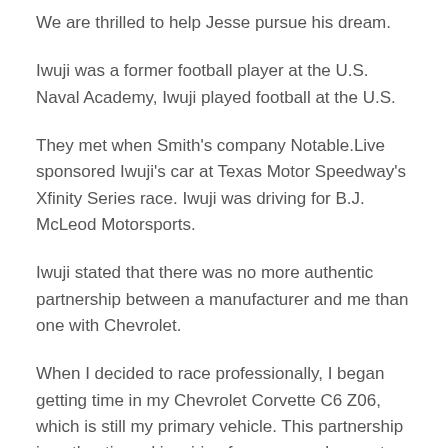We are thrilled to help Jesse pursue his dream.
Iwuji was a former football player at the U.S. Naval Academy, Iwuji played football at the U.S.
They met when Smith's company Notable.Live sponsored Iwuji's car at Texas Motor Speedway's Xfinity Series race. Iwuji was driving for B.J. McLeod Motorsports.
Iwuji stated that there was no more authentic partnership between a manufacturer and me than one with Chevrolet.
When I decided to race professionally, I began getting time in my Chevrolet Corvette C6 Z06, which is still my primary vehicle. This partnership is authentic and inspiring for anyone who wants to achieve big dreams and goals. This is a story that gives hope and shows how life rewards those who persevere for long enough.